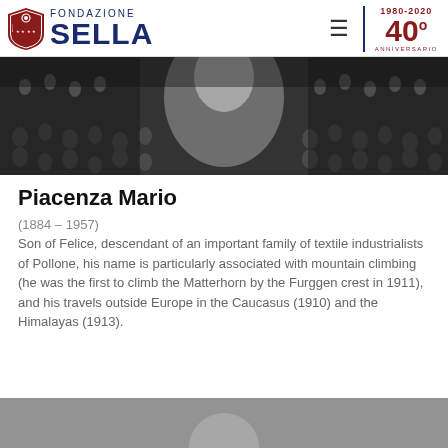[Figure (logo): Fondazione Sella logo with shield emblem, text FONDAZIONE SELLA in dark blue, and 40th anniversary badge (1980-2020) in dark red]
[Figure (photo): Black and white photograph showing a crowd of faces/people in background with a figure in the foreground]
Piacenza Mario
(1884 – 1957)
Son of Felice, descendant of an important family of textile industrialists of Pollone, his name is particularly associated with mountain climbing (he was the first to climb the Matterhorn by the Furggen crest in 1911), and his travels outside Europe in the Caucasus (1910) and the Himalayas (1913).
[Figure (photo): Partial black and white photograph at bottom of page, partially cropped]